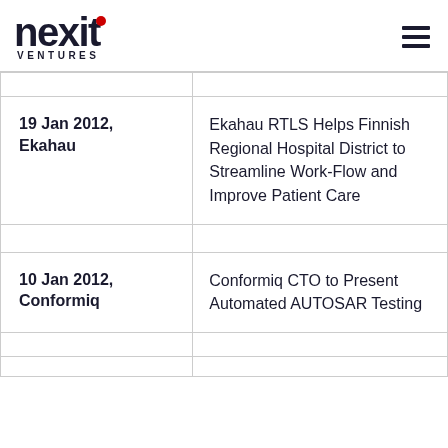[Figure (logo): Nexit Ventures logo with red dot above i and VENTURES text below]
| 19 Jan 2012, Ekahau | Ekahau RTLS Helps Finnish Regional Hospital District to Streamline Work-Flow and Improve Patient Care |
| 10 Jan 2012, Conformiq | Conformiq CTO to Present Automated AUTOSAR Testing |